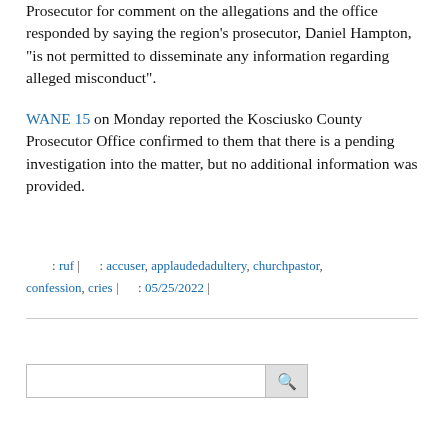Prosecutor for comment on the allegations and the office responded by saying the region's prosecutor, Daniel Hampton, "is not permitted to disseminate any information regarding alleged misconduct".
WANE 15 on Monday reported the Kosciusko County Prosecutor Office confirmed to them that there is a pending investigation into the matter, but no additional information was provided.
: ruf |      : accuser, applaudedadultery, churchpastor, confession, cries |       : 05/25/2022 |